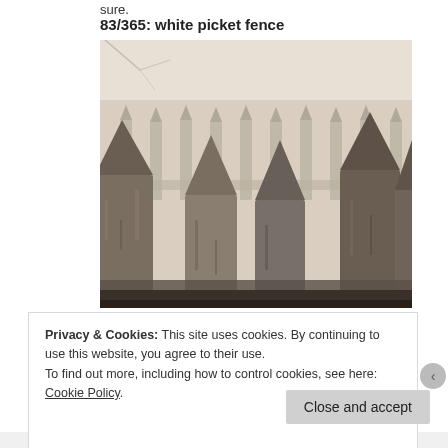sure.
83/365: white picket fence
[Figure (photo): Black and white sepia-toned photograph of a white picket fence with pointed wooden pickets in close-up, showing aged and weathered paint, with more fence pickets visible in the blurred background.]
Privacy & Cookies: This site uses cookies. By continuing to use this website, you agree to their use.
To find out more, including how to control cookies, see here: Cookie Policy